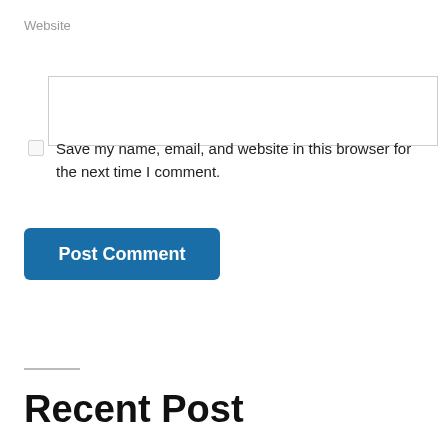Website
Save my name, email, and website in this browser for the next time I comment.
Post Comment
Recent Post